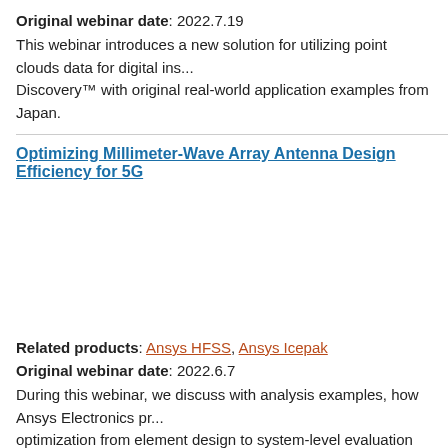Original webinar date: 2022.7.19
This webinar introduces a new solution for utilizing point clouds data for digital ins... Discovery™ with original real-world application examples from Japan.
Optimizing Millimeter-Wave Array Antenna Design Efficiency for 5G
Related products: Ansys HFSS, Ansys Icepak
Original webinar date: 2022.6.7
During this webinar, we discuss with analysis examples, how Ansys Electronics pr... optimization from element design to system-level evaluation and thermal evaluatio...
Augmented Reality (AR) Applications for Manufacturing